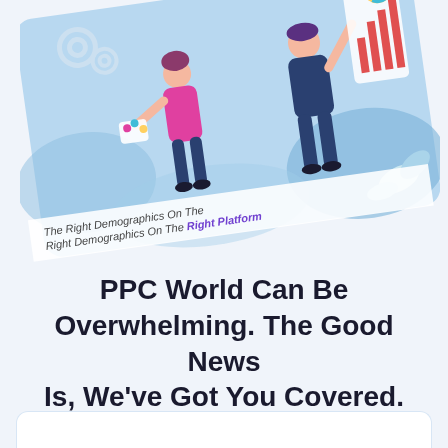[Figure (illustration): A tilted card illustration showing two people — a woman holding a color palette/charts and a man pointing at a bar chart — on a blue background with leaves and gear icons. Text on the card reads 'The Right Demographics On The Right Platform' with 'Right Platform' in purple.]
PPC World Can Be Overwhelming. The Good News Is, We've Got You Covered.